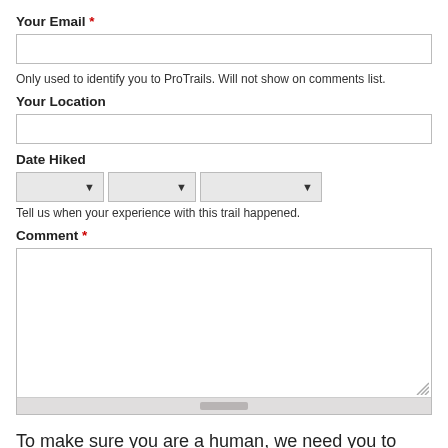Your Email *
Only used to identify you to ProTrails. Will not show on comments list.
Your Location
Date Hiked
Tell us when your experience with this trail happened.
Comment *
To make sure you are a human, we need you to click on the bug.